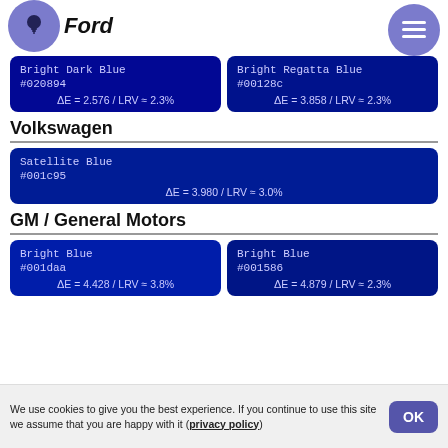Ford
Bright Dark Blue #020894 ΔE = 2.576 / LRV ≈ 2.3%
Bright Regatta Blue #00128c ΔE = 3.858 / LRV ≈ 2.3%
Volkswagen
Satellite Blue #001c95 ΔE = 3.980 / LRV ≈ 3.0%
GM / General Motors
Bright Blue #001daa ΔE = 4.428 / LRV ≈ 3.8%
Bright Blue #001586 ΔE = 4.879 / LRV ≈ 2.3%
We use cookies to give you the best experience. If you continue to use this site we assume that you are happy with it (privacy policy) OK